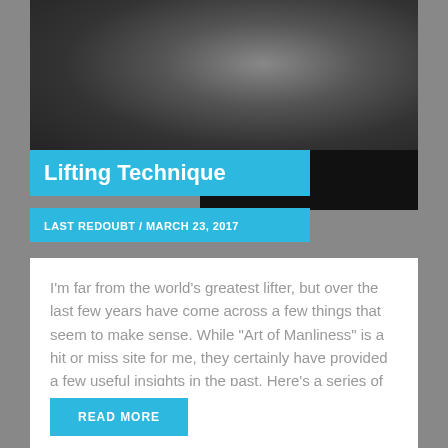[Figure (photo): Close-up photo of a dark metal weight plate for weightlifting]
Lifting Technique
LAST REDOUBT / MARCH 23, 2017
I’m far from the world’s greatest lifter, but over the last few years have come across a few things that seem to make sense. While “Art of Manliness” is a hit or miss site for me, they certainly have provided a few useful insights in the past. Here’s a series of vids they did with lifter and coach Mark Rippetoe....
READ MORE